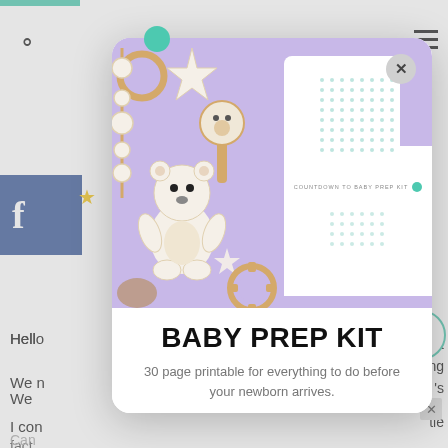[Figure (screenshot): Website screenshot showing a modal popup overlay. The modal contains a lavender/purple photo of baby toys (wooden rattle, teddy bear, star shapes, beaded teether) on the left side, and a white document preview labeled 'COUNTDOWN TO BABY PREP KIT' with teal dots on the right side. Below the image is bold text 'BABY PREP KIT' and subtitle '30 page printable for everything to do before your newborn arrives.' Background shows a white website with search icon, hamburger menu, Facebook button, and partial text content.]